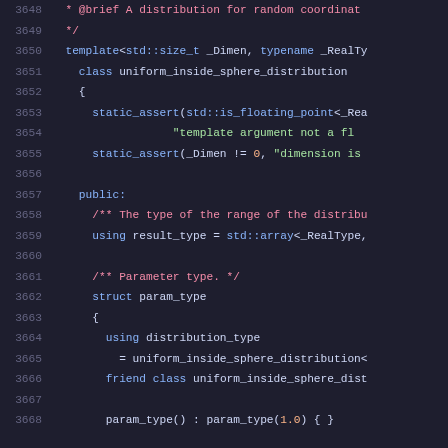[Figure (screenshot): Source code viewer showing C++ code lines 3648-3668 for a uniform_inside_sphere_distribution class template, with syntax highlighting on a dark background. Line numbers shown in gray on the left, keywords in blue, comments in red, string literals in green.]